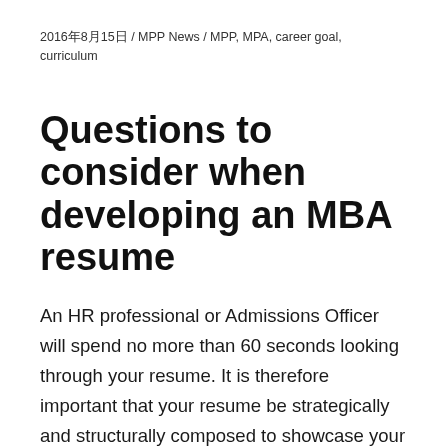2016年8月15日 / MPP News / MPP, MPA, career goal, curriculum
Questions to consider when developing an MBA resume
An HR professional or Admissions Officer will spend no more than 60 seconds looking through your resume. It is therefore important that your resume be strategically and structurally composed to showcase your skills and maximize impact to the reader.
Think of the resume as a marketing tool for